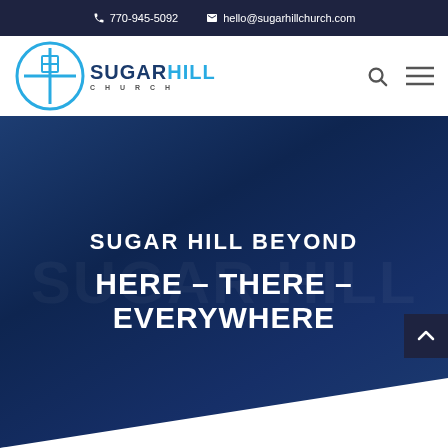770-945-5092   hello@sugarhillchurch.com
[Figure (logo): Sugar Hill Church logo with circle cross icon and text SUGARHILL CHURCH]
[Figure (screenshot): Website screenshot showing Sugar Hill Church navigation bar with search and menu icons]
SUGAR HILL BEYOND
HERE – THERE – EVERYWHERE